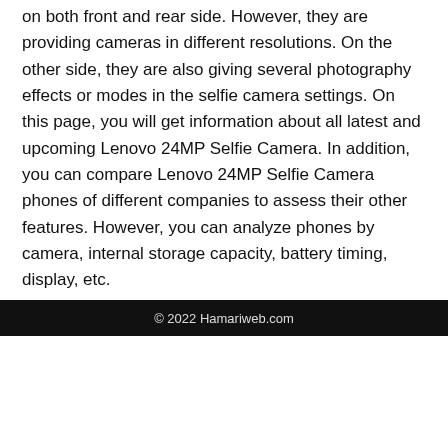on both front and rear side. However, they are providing cameras in different resolutions. On the other side, they are also giving several photography effects or modes in the selfie camera settings. On this page, you will get information about all latest and upcoming Lenovo 24MP Selfie Camera. In addition, you can compare Lenovo 24MP Selfie Camera phones of different companies to assess their other features. However, you can analyze phones by camera, internal storage capacity, battery timing, display, etc.
© 2022 Hamariweb.com